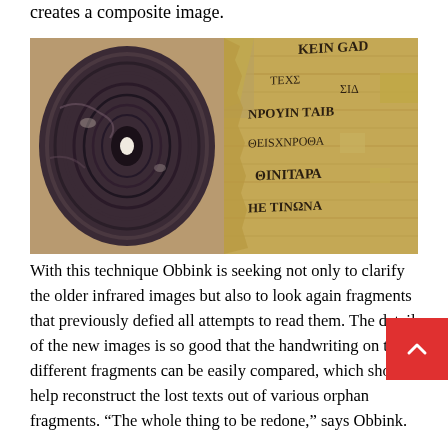creates a composite image.
[Figure (photo): Left side: a charred, rolled papyrus scroll viewed from the end, showing concentric rings of carbonized material with a small hole in the center. Right side: an unrolled fragment of ancient papyrus with handwritten Greek text visible.]
With this technique Obbink is seeking not only to clarify the older infrared images but also to look again fragments that previously defied all attempts to read them. The detail of the new images is so good that the handwriting on the different fragments can be easily compared, which should help reconstruct the lost texts out of various orphan fragments. “The whole thing to be redone,” says Obbink.